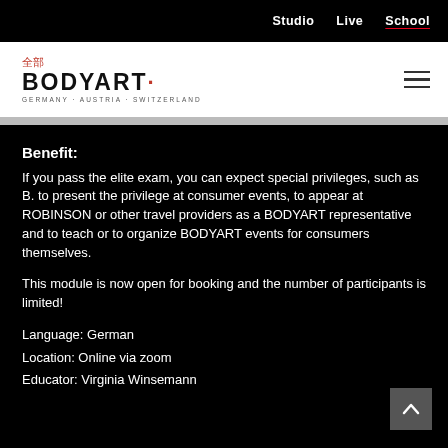Studio  Live  School
[Figure (logo): BODYART logo with Chinese characters 全部 above, BODYART in bold letters with a red dot superscript, and 'GERMANY · AUSTRIA · SWITZERLAND' below]
Benefit:
If you pass the elite exam, you can expect special privileges, such as B. to present the privilege at consumer events, to appear at ROBINSON or other travel providers as a BODYART representative and to teach or to organize BODYART events for consumers themselves.
This module is now open for booking and the number of participants is limited!
Language: German
Location: Online via zoom
Educator: Virginia Winsemann